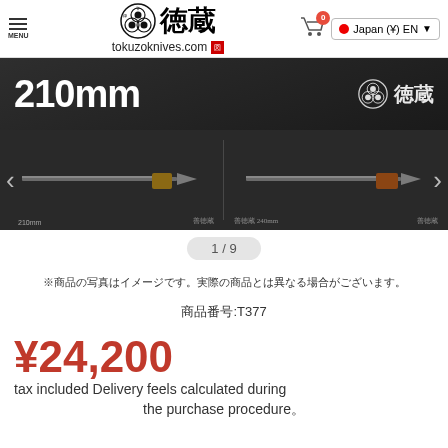tokuzoknives.com — Japan (¥) EN
[Figure (photo): Product image carousel showing Japanese knives (210mm) on dark fabric background with Tokuzo brand logo. Navigation arrows visible on both sides. Slide indicator shows 1/9.]
※商品の写真はイメージです。実際の商品とは異なる場合がございます。
商品番号:T377
¥24,200 tax included Delivery feels calculated during the purchase procedure。